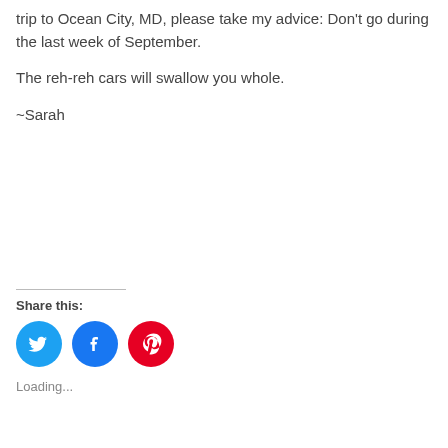trip to Ocean City, MD, please take my advice: Don't go during the last week of September.
The reh-reh cars will swallow you whole.
~Sarah
Share this:
[Figure (other): Three social media share buttons: Twitter (blue circle with bird icon), Facebook (blue circle with f icon), Pinterest (red circle with P icon)]
Loading...